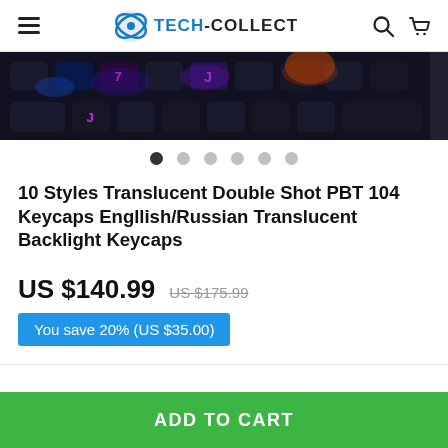TECH-COLLECT
[Figure (photo): Close-up of a backlit mechanical keyboard with colorful purple, blue and orange LED lights on dark keys]
10 Styles Translucent Double Shot PBT 104 Keycaps Engllish/Russian Translucent Backlight Keycaps
US $140.99  US $175.99
You save 20% (US $35.00)
ADD TO CART